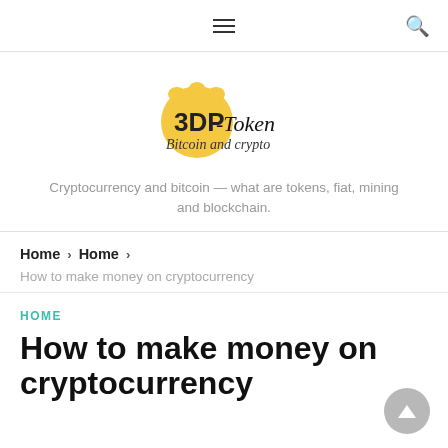Navigation bar with hamburger menu and search icon
[Figure (logo): 3DP-Token logo with paw print icon in yellow/gold and stylized hand-lettered text '3DP-Token Bitcoin and crypto']
Cryptocurrency and bitcoin — what are tokens, fiat, mining and blockchain.
Home > Home > How to make money on cryptocurrency
HOME
How to make money on cryptocurrency